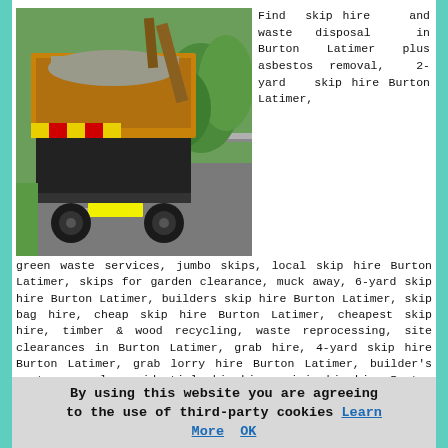[Figure (photo): A skip lorry (rear view) driving on a road, with a large open skip container loaded on the back. Green trees and roadside barrier visible in background.]
Find skip hire and waste disposal in Burton Latimer plus asbestos removal, 2-yard skip hire Burton Latimer, green waste services, jumbo skips, local skip hire Burton Latimer, skips for garden clearance, muck away, 6-yard skip hire Burton Latimer, builders skip hire Burton Latimer, skip bag hire, cheap skip hire Burton Latimer, cheapest skip hire, timber & wood recycling, waste reprocessing, site clearances in Burton Latimer, grab hire, 4-yard skip hire Burton Latimer, grab lorry hire Burton Latimer, builder's waste removal, residential skip hire, mini skip hire Burton Latimer, fly-tipped waste removal, commercial skip hire, lockable skips in Burton Latimer, skip hire prices, skip collection in Burton Latimer, midi skip hire
By using this website you are agreeing to the use of third-party cookies Learn More  OK